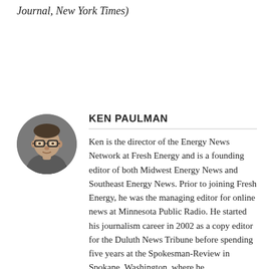Journal, New York Times)
[Figure (photo): Circular headshot portrait of Ken Paulman, a middle-aged man with glasses, against a dark background.]
KEN PAULMAN
Ken is the director of the Energy News Network at Fresh Energy and is a founding editor of both Midwest Energy News and Southeast Energy News. Prior to joining Fresh Energy, he was the managing editor for online news at Minnesota Public Radio. He started his journalism career in 2002 as a copy editor for the Duluth News Tribune before spending five years at the Spokesman-Review in Spokane, Washington, where he